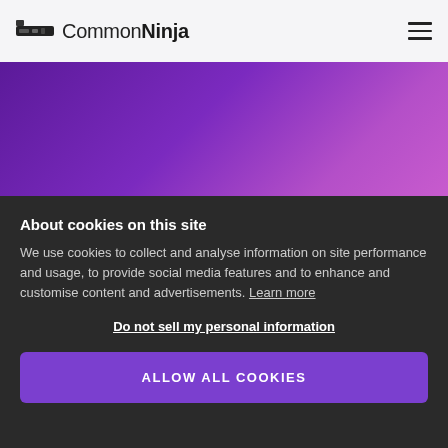Common Ninja
May 2022: What's New
About cookies on this site
We use cookies to collect and analyse information on site performance and usage, to provide social media features and to enhance and customise content and advertisements. Learn more
Do not sell my personal information
ALLOW ALL COOKIES